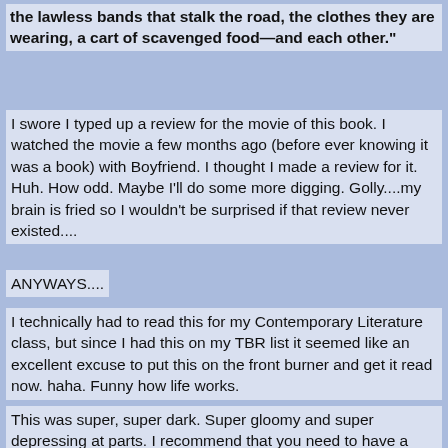the lawless bands that stalk the road, the clothes they are wearing, a cart of scavenged food—and each other."
I swore I typed up a review for the movie of this book. I watched the movie a few months ago (before ever knowing it was a book) with Boyfriend. I thought I made a review for it. Huh. How odd. Maybe I'll do some more digging. Golly....my brain is fried so I wouldn't be surprised if that review never existed....
ANYWAYS....
I technically had to read this for my Contemporary Literature class, but since I had this on my TBR list it seemed like an excellent excuse to put this on the front burner and get it read now. haha. Funny how life works.
This was super, super dark. Super gloomy and super depressing at parts. I recommend that you need to have a thick skin to read this, because there are a few scenes that are rather disturbing. I love it. Okay, I don't love all the cannibals and the putting infants on a roast spit, but how does McCarthy do it? he keeps us from the truth if the